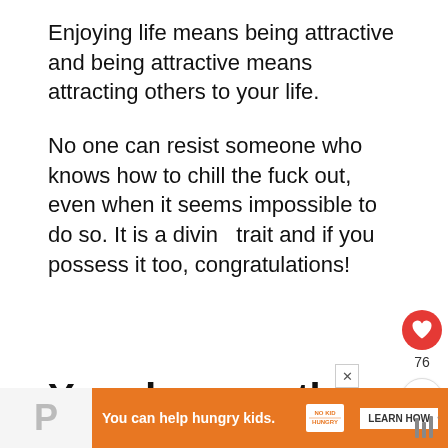Enjoying life means being attractive and being attractive means attracting others to your life.
No one can resist someone who knows how to chill the fuck out, even when it seems impossible to do so. It is a divine trait and if you possess it too, congratulations!
You do everything with
[Figure (infographic): Social interaction panel with heart/like button showing 76 likes and a share button]
[Figure (infographic): What's Next promotional panel showing a couple photo with text: WHAT'S NEXT → 4 Proven Signs A Man...]
[Figure (infographic): Advertisement banner: orange background, text: You can help hungry kids. No Kid Hungry logo. LEARN HOW button. Close X button.]